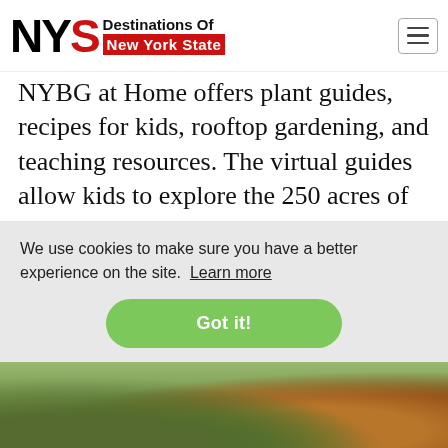NYS Destinations Of New York State
NYBG at Home offers plant guides, recipes for kids, rooftop gardening, and teaching resources. The virtual guides allow kids to explore the 250 acres of NYBG and learn about what's in season. They also offer a summer mini-camp.
https://www.nybg.org/learn/kids-
We use cookies to make sure you have a better experience on the site. Learn more
Got it!
[Figure (photo): Bottom strip showing outdoor garden/nature scene with green foliage and autumn-colored trees]